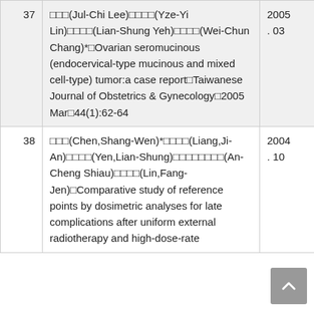| # | Content | Date |
| --- | --- | --- |
| 37 | □□□(Jul-Chi Lee)□□□□(Yze-Yi Lin)□□□□(Lian-Shung Yeh)□□□□(Wei-Chun Chang)*□Ovarian seromucinous (endocervical-type mucinous and mixed cell-type) tumor:a case report□Taiwanese Journal of Obstetrics & Gynecology□2005 Mar□44(1):62-64 | 2005. 03 |
| 38 | □□□(Chen,Shang-Wen)*□□□□(Liang,Ji-An)□□□□(Yen,Lian-Shung)□□□□□□□□(An-Cheng Shiau)□□□□(Lin,Fang-Jen)□Comparative study of reference points by dosimetric analyses for late complications after uniform external radiotherapy and high-dose-rate brachytherapy of... | 2004. 10 |